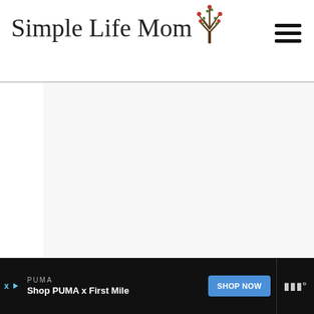[Figure (logo): Simple Life Mom logo with script text and decorative tree illustration]
[Figure (other): Hamburger menu icon with three horizontal lines]
[Figure (photo): Large white/light gray content image area (recipe photo placeholder)]
[Figure (other): Floating green heart/favorite button]
[Figure (other): Floating white share button with share icon]
[Figure (other): What's Next card showing thumbnail and title 'Make Natural Bug Spray a...' with arrow]
Ingredients:
[Figure (other): Advertisement bar: PUMA - Shop PUMA x First Mile - SHOP NOW button]
[Figure (logo): Ad network logo on right side of ad bar (W with degree symbol)]